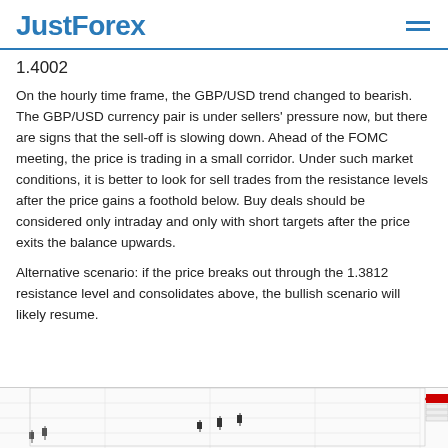JustForex
1.4002
On the hourly time frame, the GBP/USD trend changed to bearish. The GBP/USD currency pair is under sellers' pressure now, but there are signs that the sell-off is slowing down. Ahead of the FOMC meeting, the price is trading in a small corridor. Under such market conditions, it is better to look for sell trades from the resistance levels after the price gains a foothold below. Buy deals should be considered only intraday and only with short targets after the price exits the balance upwards.
Alternative scenario: if the price breaks out through the 1.3812 resistance level and consolidates above, the bullish scenario will likely resume.
[Figure (continuous-plot): Candlestick/OHLC chart showing GBP/USD price action on the hourly time frame, with red resistance line visible on the right side]